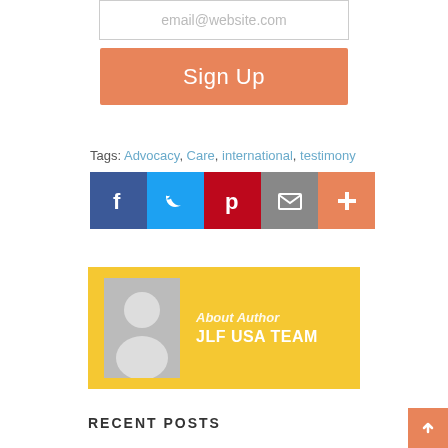email@website.com
Sign Up
Tags: Advocacy, Care, international, testimony
[Figure (infographic): Social sharing icons row: Facebook (blue), Twitter (light blue), Pinterest (red), Email (gray), More/Plus (orange-salmon)]
[Figure (infographic): Author bio box with yellow background, avatar placeholder image, 'About Author' label and 'JLF USA TEAM' name]
RECENT POSTS